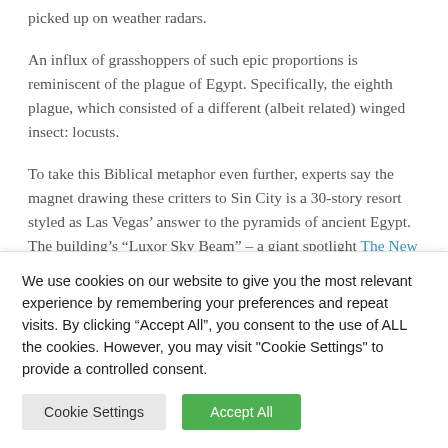picked up on weather radars.
An influx of grasshoppers of such epic proportions is reminiscent of the plague of Egypt. Specifically, the eighth plague, which consisted of a different (albeit related) winged insect: locusts.
To take this Biblical metaphor even further, experts say the magnet drawing these critters to Sin City is a 30-story resort styled as Las Vegas’ answer to the pyramids of ancient Egypt. The building’s “Luxor Sky Beam” – a giant spotlight The New York Times reports can be seen by Los Angeles’ air pilots – is
We use cookies on our website to give you the most relevant experience by remembering your preferences and repeat visits. By clicking “Accept All”, you consent to the use of ALL the cookies. However, you may visit "Cookie Settings" to provide a controlled consent.